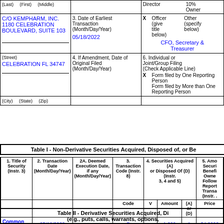| (Last)  (First)  (Middle) |  | Director  10% Owner |
| C/O KEMPHARM, INC.
1180 CELEBRATION BOULEVARD, SUITE 103 | 3. Date of Earliest Transaction (Month/Day/Year)
05/18/2022 | X  Officer (give title below)  Other (specify below)
CFO, Secretary & Treasurer |
| (Street)
CELEBRATION FL 34747 | 4. If Amendment, Date of Original Filed (Month/Day/Year) | 6. Individual or Joint/Group Filing (Check Applicable Line)
X Form filed by One Reporting Person
Form filed by More than One Reporting Person |
| (City)  (State)  (Zip) |  |  |
Table I - Non-Derivative Securities Acquired, Disposed of, or Beneficially Owned
| 1. Title of Security (Instr. 3) | 2. Transaction Date (Month/Day/Year) | 2A. Deemed Execution Date, if any (Month/Day/Year) | 3. Transaction Code (Instr. 8) | 4. Securities Acquired (A) or Disposed Of (D) (Instr. 3, 4 and 5) | 5. Amount of Securities Beneficially Owned Following Reported Transaction(s) (Instr. ...) |
| --- | --- | --- | --- | --- | --- |
| Common Stock | 05/18/2022 |  | P | 1,200  A  $4.9992 | 6,4... |
Table II - Derivative Securities Acquired, Disposed of, or Beneficially Owned (e.g., puts, calls, warrants, options, convertible securities)